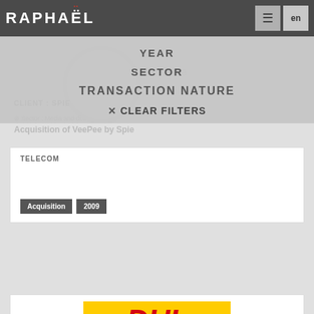RAPHAËL
YEAR
SECTOR
TRANSACTION NATURE
✕ CLEAR FILTERS
CLIENT : SPIE
⊗ Sector : Media and di...
Acquisition of VeePee by Spie
TELECOM
Acquisition
2009
[Figure (logo): DHL logo on yellow background with red text]